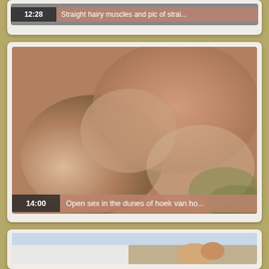[Figure (screenshot): Video thumbnail card showing duration 12:28 and title 'Straight hairy muscles and pic of strai...']
[Figure (screenshot): Video thumbnail card showing close-up image, duration 14:00 and title 'Open sex in the dunes of hoek van ho...']
[Figure (screenshot): Video thumbnail card showing two people on a boat, partially visible at bottom]